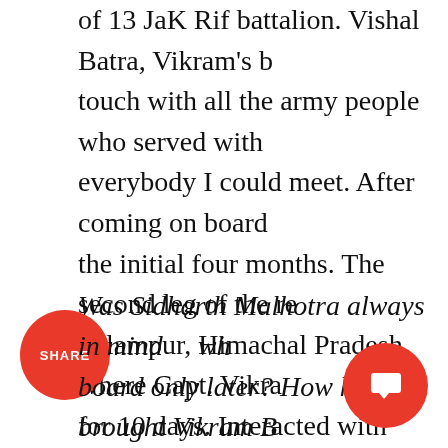of 13 JaK Rif battalion. Vishal Batra, Vikram's b touch with all the army people who served with everybody I could meet. After coming on board the initial four months. The second leg of the re Palampur, Himachal Pradesh where Capt. Vikra for 10 days. Interacted with Vikram's parents, h school teacher, the owner of a Chinese restau place for momos. The third leg of the research Chandigarh. She at first was hesitant to meet m prefers to keep away from the limelight. Bu phone conversation. And as the phone convers meet with me in person. I have immense respe epitome of true love for me.
Was Sidharth Malhotra always in mind wh board only later? How has he brought Vikram B